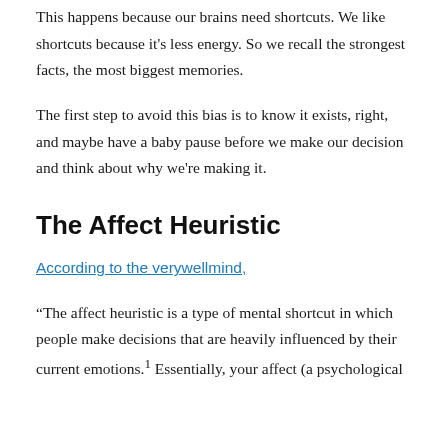This happens because our brains need shortcuts. We like shortcuts because it's less energy. So we recall the strongest facts, the most biggest memories.
The first step to avoid this bias is to know it exists, right, and maybe have a baby pause before we make our decision and think about why we're making it.
The Affect Heuristic
According to the verywellmind,
“The affect heuristic is a type of mental shortcut in which people make decisions that are heavily influenced by their current emotions.¹ Essentially, your affect (a psychological